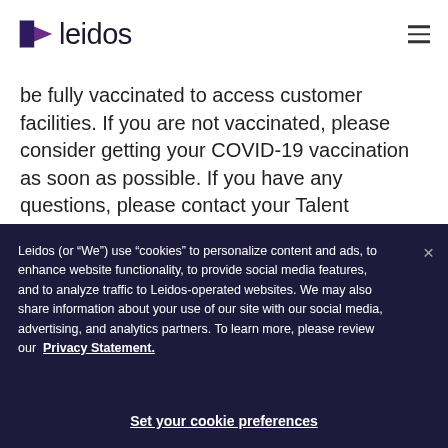[Figure (logo): Leidos company logo with purple arrow/triangle icon and 'leidos' text in dark navy]
be fully vaccinated to access customer facilities. If you are not vaccinated, please consider getting your COVID-19 vaccination as soon as possible. If you have any questions, please contact your Talent Acquisition POC.
Leidos (or “We”) use “cookies” to personalize content and ads, to enhance website functionality, to provide social media features, and to analyze traffic to Leidos-operated websites. We may also share information about your use of our site with our social media, advertising, and analytics partners. To learn more, please review our Privacy Statement.
Set your cookie preferences